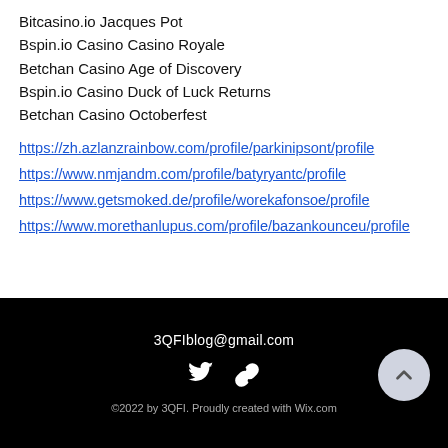Bitcasino.io Jacques Pot
Bspin.io Casino Casino Royale
Betchan Casino Age of Discovery
Bspin.io Casino Duck of Luck Returns
Betchan Casino Octoberfest
https://zh.azlanzrainbow.com/profile/parkinipsont/profile
https://www.nmjandm.com/profile/batyryantc/profile
https://www.getsmoked.de/profile/worekafonsoe/profile
https://www.morethanlupus.com/profile/bazankounceu/profile
3QFIblog@gmail.com
©2022 by 3QFI. Proudly created with Wix.com